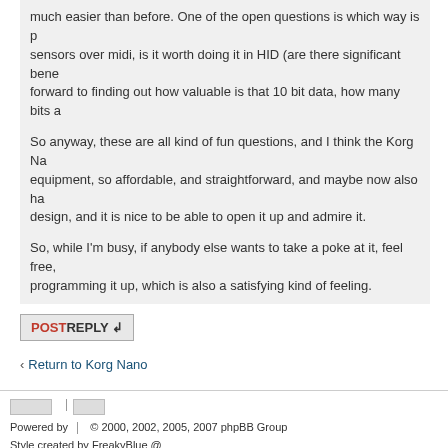much easier than before. One of the open questions is which way is preferred for sensors over midi, is it worth doing it in HID (are there significant benefits?). I look forward to finding out how valuable is that 10 bit data, how many bits a
So anyway, these are all kind of fun questions, and I think the Korg Nano equipment, so affordable, and straightforward, and maybe now also ha design, and it is nice to be able to open it up and admire it.
So, while I'm busy, if anybody else wants to take a poke at it, feel free, programming it up, which is also a satisfying kind of feeling.
POSTREPLY
Return to Korg Nano
WHO IS ONLINE
Users browsing this forum: No registered users and 1 guest
Board index
Powered by   © 2000, 2002, 2005, 2007 phpBB Group
Style created by FreakyBlue @